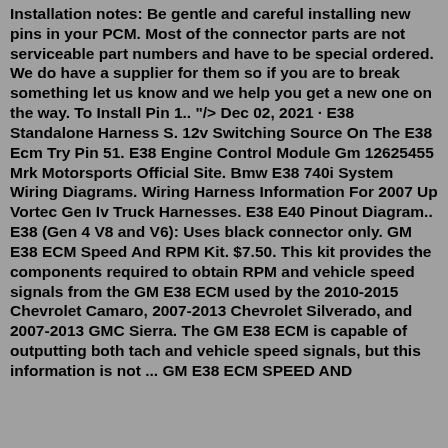Installation notes: Be gentle and careful installing new pins in your PCM. Most of the connector parts are not serviceable part numbers and have to be special ordered. We do have a supplier for them so if you are to break something let us know and we help you get a new one on the way. To Install Pin 1.. "/> Dec 02, 2021 · E38 Standalone Harness S. 12v Switching Source On The E38 Ecm Try Pin 51. E38 Engine Control Module Gm 12625455 Mrk Motorsports Official Site. Bmw E38 740i System Wiring Diagrams. Wiring Harness Information For 2007 Up Vortec Gen Iv Truck Harnesses. E38 E40 Pinout Diagram.. E38 (Gen 4 V8 and V6): Uses black connector only. GM E38 ECM Speed And RPM Kit. $7.50. This kit provides the components required to obtain RPM and vehicle speed signals from the GM E38 ECM used by the 2010-2015 Chevrolet Camaro, 2007-2013 Chevrolet Silverado, and 2007-2013 GMC Sierra. The GM E38 ECM is capable of outputting both tach and vehicle speed signals, but this information is not ... GM E38 ECM SPEED AND